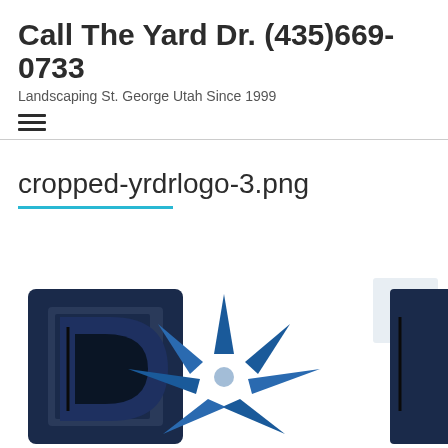Call The Yard Dr. (435)669-0733
Landscaping St. George Utah Since 1999
cropped-yrdrlogo-3.png
[Figure (logo): Yard Doctor logo — stylized letters with a blue snowflake/star burst emblem in the center, partially cropped at bottom of page]